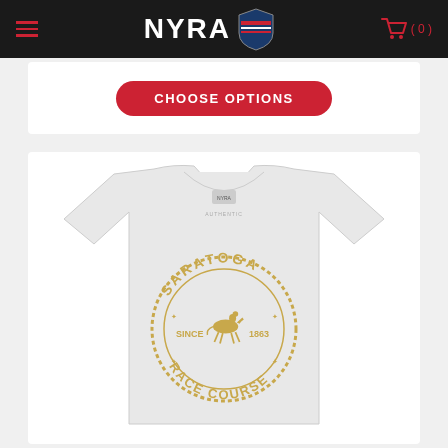NYRA (0)
[Figure (screenshot): CHOOSE OPTIONS red button on white product card background]
[Figure (photo): White t-shirt with circular gold Saratoga Race Course Since 1863 design with horse and jockey graphic]